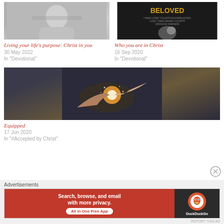[Figure (photo): Black and white photo of a man from shoulders up, looking down, headphones visible]
Living your life's purpose: Christ in you
30 May 2022
In "Devotional"
[Figure (photo): Dark background book cover with gold text BELOVED and a woman smiling]
Who you are in Christ
16 Sep 2020
In "Devotional"
[Figure (photo): Two hands touching with glowing light and particle effects on dark background]
Equipped
17 Jun 2020
In "#Accepted by Christ"
Advertisements
[Figure (screenshot): DuckDuckGo advertisement banner: Search, browse, and email with more privacy. All in One Free App. DuckDuckGo logo on dark right side.]